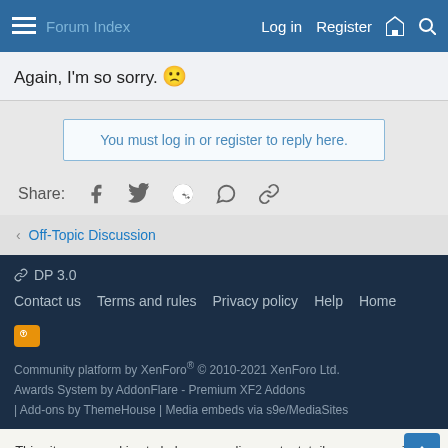Log in  Register
Again, I'm so sorry. 🙁
You must log in or register to reply here.
Share:
< Off-Topic Discussion
DP 3.0
Contact us  Terms and rules  Privacy policy  Help  Home
Community platform by XenForo® © 2010-2021 XenForo Ltd.
Awards System by AddonFlare - Premium XF2 Addons
| Add-ons by ThemeHouse | Media embeds via s9e/MediaSites
This site uses cookies to help personalise content, tailor your experience and to keep you logged in if you register.
By continuing to use this site, you are consenting to our use of cookies.